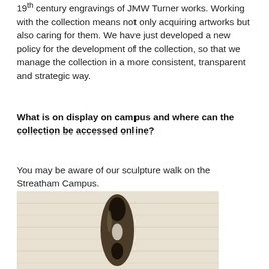19th century engravings of JMW Turner works. Working with the collection means not only acquiring artworks but also caring for them. We have just developed a new policy for the development of the collection, so that we manage the collection in a more consistent, transparent and strategic way.
What is on display on campus and where can the collection be accessed online?
You may be aware of our sculpture walk on the Streatham Campus.
[Figure (photo): A bronze or dark metal abstract sculpture with organic curved forms and openings, photographed against a light wooden background.]